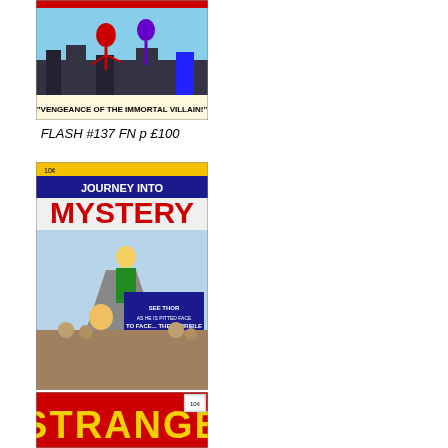[Figure (illustration): Comic book cover for Flash #137, showing 'Vengeance of the Immortal Villain' text visible at bottom]
FLASH #137 FN p £100
[Figure (illustration): Comic book cover for Journey Into Mystery #88 featuring Thor facing Loki's vengeance, with 'Journey Into Mystery' in red letters at top]
JOURNEY INTO MYSTERY #88 FN+ p £225
[Figure (illustration): Partial comic book cover showing 'STRANGE' in yellow letters on red background]